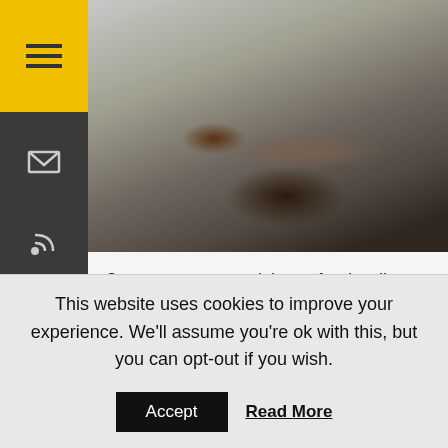[Figure (photo): Photo of people lying on the ground in a public space, appears to be a scene of chaos or performance art, with multiple people sprawled on pavement]
Samsung announced the professionally-inspired compact system camera, the Samsung NX30, featuring high quality images and with faster than ever performance. Samsung also expanded its line of NX lenses with the introduction of its first “S” Series premium lens....
This website uses cookies to improve your experience. We'll assume you're ok with this, but you can opt-out if you wish.
Accept  Read More